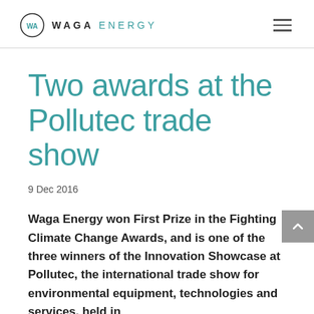WAGA ENERGY
Two awards at the Pollutec trade show
9 Dec 2016
Waga Energy won First Prize in the Fighting Climate Change Awards, and is one of the three winners of the Innovation Showcase at Pollutec, the international trade show for environmental equipment, technologies and services, held in